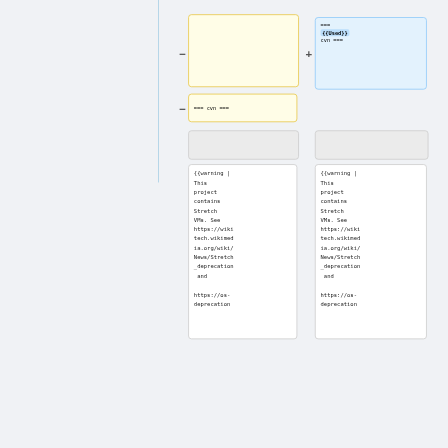===
{{Used}}
cvn ===
=== cvn ===
{{warning | This project contains Stretch VMs. See https://wikitech.wikimedia.org/wiki/News/Stretch_deprecation and https://os-deprecation
{{warning | This project contains Stretch VMs. See https://wikitech.wikimedia.org/wiki/News/Stretch_deprecation and https://os-deprecation